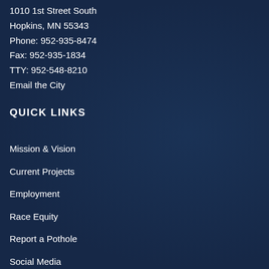1010 1st Street South
Hopkins, MN 55343
Phone: 952-935-8474
Fax: 952-935-1834
TTY: 952-548-8210
Email the City
QUICK LINKS
Mission & Vision
Current Projects
Employment
Race Equity
Report a Pothole
Social Media